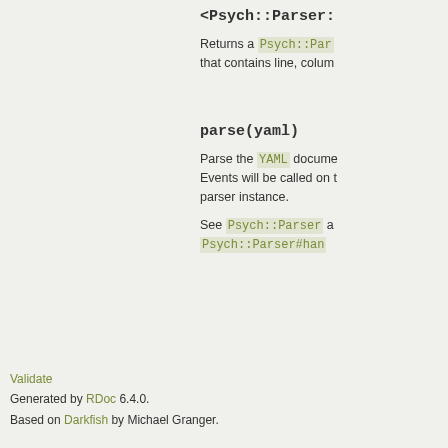<Psych::Parser:
Returns a Psych::Par that contains line, colum
parse(yaml)
Parse the YAML docume Events will be called on t parser instance.
See Psych::Parser a Psych::Parser#han
Validate
Generated by RDoc 6.4.0.
Based on Darkfish by Michael Granger.